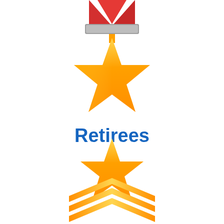[Figure (illustration): Military/achievement medal icon at the top with red ribbon and grey bar, above a large gold star, then the word Retirees in bold blue, then a gold star rank insignia with two chevrons below]
Retirees